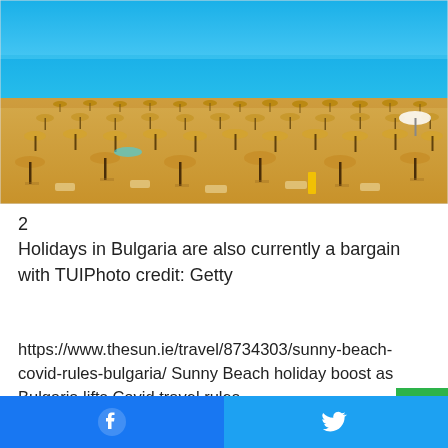[Figure (photo): Aerial/elevated view of a sandy beach crowded with rows of straw/thatched beach umbrellas and sun loungers, with turquoise blue sea in the background. Sunny Beach, Bulgaria.]
2
Holidays in Bulgaria are also currently a bargain with TUIPhoto credit: Getty
https://www.thesun.ie/travel/8734303/sunny-beach-covid-rules-bulgaria/ Sunny Beach holiday boost as Bulgaria lifts Covid travel rules